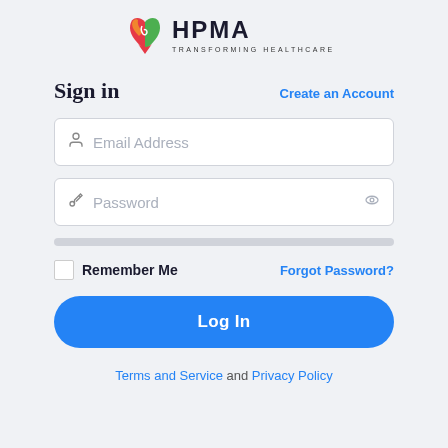[Figure (logo): HPMA Transforming Healthcare logo — colorful heart-shaped icon with swirl design and HPMA text with tagline TRANSFORMING HEALTHCARE]
Sign in
Create an Account
Email Address
Password
Remember Me
Forgot Password?
Log In
Terms and Service and Privacy Policy